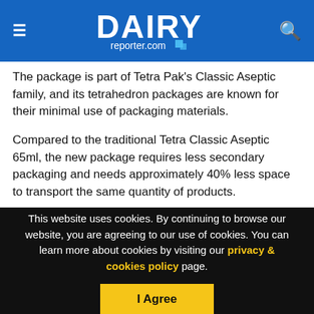DAIRY reporter.com
The package is part of Tetra Pak's Classic Aseptic family, and its tetrahedron packages are known for their minimal use of packaging materials.
Compared to the traditional Tetra Classic Aseptic 65ml, the new package requires less secondary packaging and needs approximately 40% less space to transport the same quantity of products.
According to Roper Reports Worldwide 2010 'value for money'
This website uses cookies. By continuing to browse our website, you are agreeing to our use of cookies. You can learn more about cookies by visiting our privacy & cookies policy page.